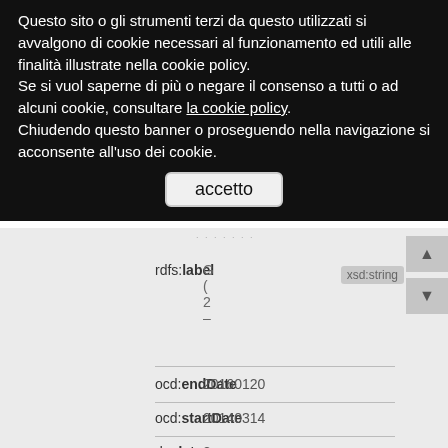Questo sito o gli strumenti terzi da questo utilizzati si avvalgono di cookie necessari al funzionamento ed utili alle finalità illustrate nella cookie policy.
Se si vuol saperne di più o negare il consenso a tutti o ad alcuni cookie, consultare la cookie policy.
Chiudendo questo banner o proseguendo nella navigazione si acconsente all'uso dei cookie.
accetto
rdfs:label   xsd:string
G
(
2
–
ocd:endDate   20160120
–
ocd:startDate   20140314
–
dc:date   2
2